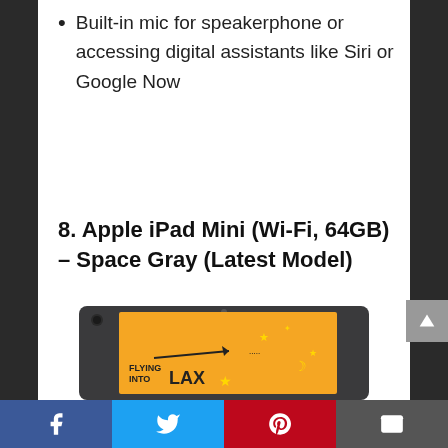Built-in mic for speakerphone or accessing digital assistants like Siri or Google Now
8. Apple iPad Mini (Wi-Fi, 64GB) – Space Gray (Latest Model)
[Figure (photo): Apple iPad Mini Space Gray showing an orange illustrated wallpaper with LAX flying theme]
Facebook | Twitter | Pinterest | Email social share bar